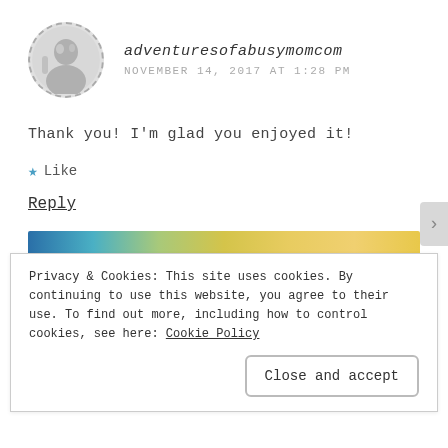[Figure (photo): Circular dashed-border avatar photo of a blonde woman in black and white]
adventuresofabusymomcom
NOVEMBER 14, 2017 AT 1:28 PM
Thank you! I'm glad you enjoyed it!
★ Like
Reply
[Figure (other): Horizontal gradient ad banner from blue to yellow/green]
REPORT THIS AD
Privacy & Cookies: This site uses cookies. By continuing to use this website, you agree to their use.
To find out more, including how to control cookies, see here: Cookie Policy
Close and accept